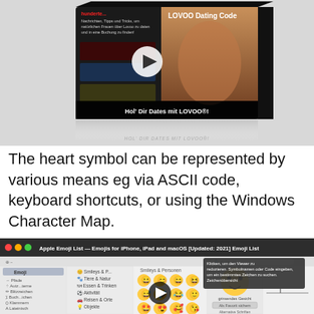[Figure (screenshot): Product box for LOVOO Dating Code video course showing thumbnails and a girl on cover, with 'Hol' Dir Dates mit LOVOO®!' text]
The heart symbol can be represented by various means eg via ASCII code, keyboard shortcuts, or using the Windows Character Map.
[Figure (screenshot): Screenshot of Apple Emoji List page showing macOS Character Viewer with emoji categories sidebar (Emoji, Pfade, Autz...terne, Blitzzeichen, Buch...ichen, Klammern, Lateinisch, Math...bole, Setzzeichen, Währungen) and main panel showing Smileys & Personen emoji grid, with tooltip overlay showing German text about Viewer functionality]